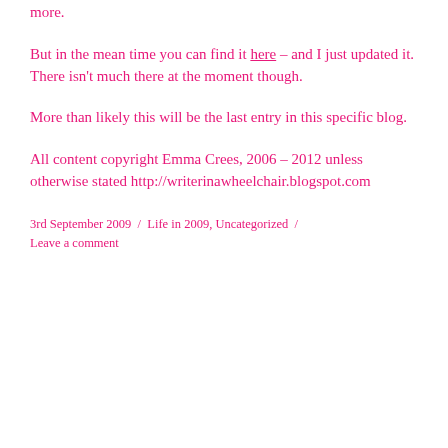more.
But in the mean time you can find it here – and I just updated it.  There isn't much there at the moment though.
More than likely this will be the last entry in this specific blog.
All content copyright Emma Crees, 2006 – 2012 unless otherwise stated http://writerinawheelchair.blogspot.com
3rd September 2009  /  Life in 2009, Uncategorized  /  Leave a comment